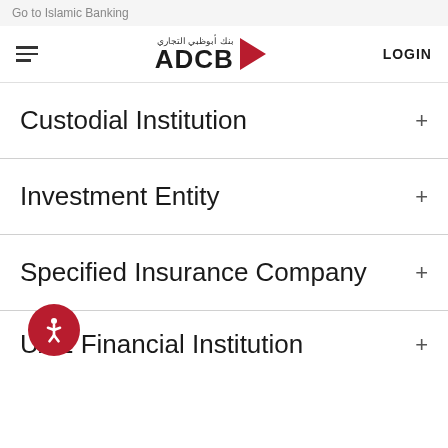Go to Islamic Banking
[Figure (logo): ADCB (Abu Dhabi Commercial Bank) logo with Arabic text and red play button icon, and LOGIN button on the right]
Custodial Institution
Investment Entity
Specified Insurance Company
UAE Financial Institution